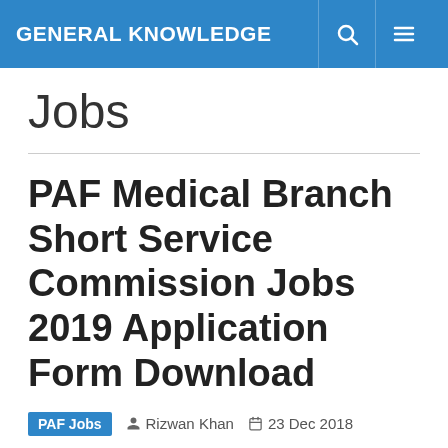GENERAL KNOWLEDGE
Jobs
PAF Medical Branch Short Service Commission Jobs 2019 Application Form Download
PAF Jobs  Rizwan Khan  23 Dec 2018